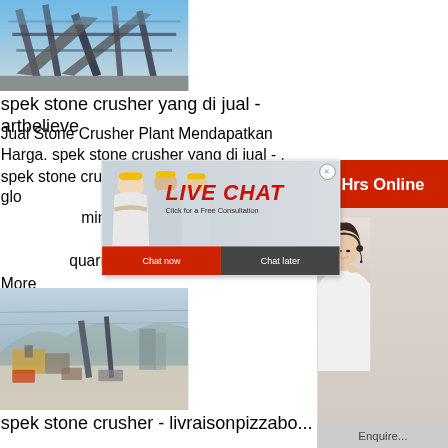[Figure (photo): Industrial stone crusher conveyor belts and metal framework against blue sky]
spek stone crusher yang di jual - artbelieve
Jual Stone Crusher Plant Mendapatkan Harga. spek stone crusher yang di jual - . spek stone crusher yang di jual. As a leading glo... mining equip... solutions for... quarry, aggre...
More
[Figure (photo): Outdoor quarry stone crusher plant with machinery and vehicles in winter/dusty conditions]
spek stone crusher - livraisonpizzabo...
[Figure (screenshot): Live chat popup overlay with workers in hard hats, LIVE CHAT text in red italic, Click for a Free Consultation, Chat now and Chat later buttons]
[Figure (photo): Right side panel: 24hrs Online banner in red, customer service representative with headset, Need questions & suggestion box with Chat Now button, Enquire bar at bottom]